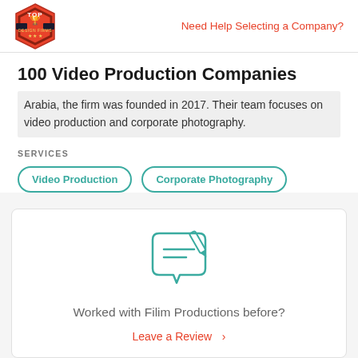Need Help Selecting a Company?
100 Video Production Companies
Arabia, the firm was founded in 2017. Their team focuses on video production and corporate photography.
SERVICES
Video Production
Corporate Photography
[Figure (illustration): Speech bubble with pencil/review icon in teal color]
Worked with Filim Productions before?
Leave a Review >